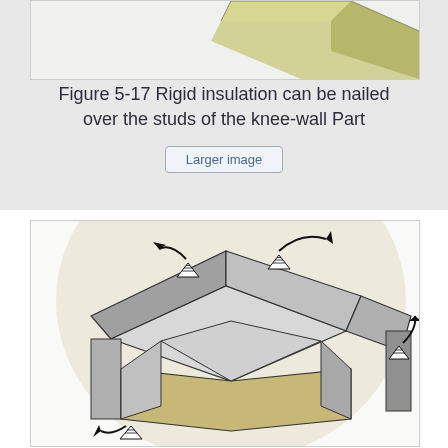[Figure (illustration): Partial view of rigid insulation block — a pale yellow-green rectangular 3D block shown at an angle against a light gray background]
Figure 5-17 Rigid insulation can be nailed over the studs of the knee-wall Part
[Figure (engineering-diagram): Architectural cross-section diagram of an attic/knee-wall space showing insulation placement. An octagonal-like room cross-section with gray wall panels, a tan/olive floor, and arrow symbols (curved arrows with pyramid/stack icons) indicating locations where rigid insulation is nailed over studs at the knee-wall areas. Multiple arrows point to various positions around the structure.]